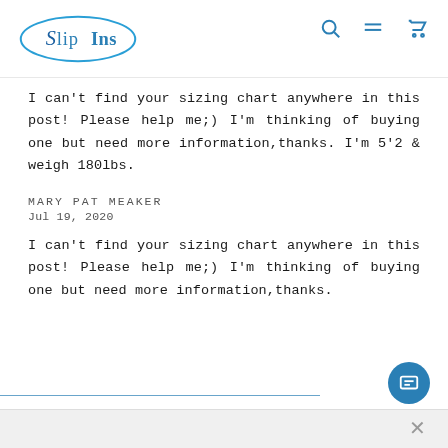SlipIns. [navigation: search, menu, cart icons]
I can't find your sizing chart anywhere in this post! Please help me;) I'm thinking of buying one but need more information,thanks. I'm 5'2 & weigh 180lbs.
MARY PAT MEAKER
Jul 19, 2020
I can't find your sizing chart anywhere in this post! Please help me;) I'm thinking of buying one but need more information,thanks.